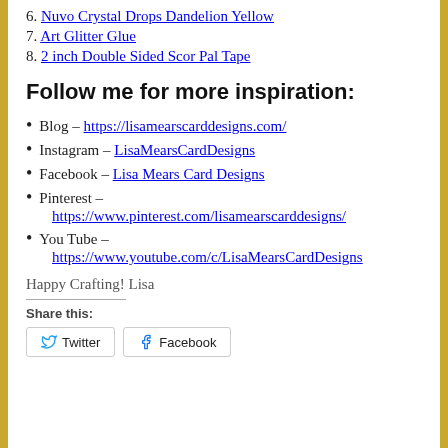6. Nuvo Crystal Drops Dandelion Yellow
7. Art Glitter Glue
8. 2 inch Double Sided Scor Pal Tape
Follow me for more inspiration:
Blog – https://lisamearscarddesigns.com/
Instagram – LisaMearsCardDesigns
Facebook – Lisa Mears Card Designs
Pinterest – https://www.pinterest.com/lisamearscarddesigns/
You Tube – https://www.youtube.com/c/LisaMearsCardDesigns
Happy Crafting! Lisa
Share this:
Twitter | Facebook